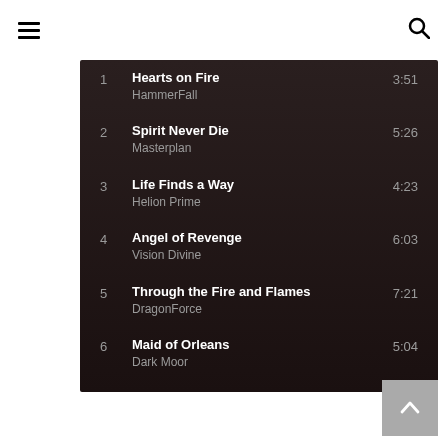Navigation menu and search icon
| # | Title / Artist | Duration |
| --- | --- | --- |
| 1 | Hearts on Fire / HammerFall | 3:51 |
| 2 | Spirit Never Die / Masterplan | 5:26 |
| 3 | Life Finds a Way / Helion Prime | 4:23 |
| 4 | Angel of Revenge / Vision Divine | 6:03 |
| 5 | Through the Fire and Flames / DragonForce | 7:21 |
| 6 | Maid of Orleans / Dark Moor | 5:04 |